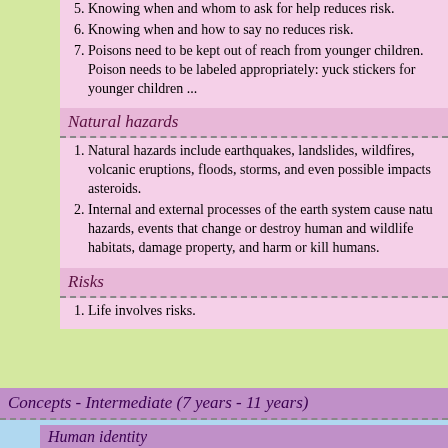5. Knowing when and whom to ask for help reduces risk.
6. Knowing when and how to say no reduces risk.
7. Poisons need to be kept out of reach from younger children. Poison needs to be labeled appropriately: yuck stickers for younger children ...
Natural hazards
1. Natural hazards include earthquakes, landslides, wildfires, volcanic eruptions, floods, storms, and even possible impacts asteroids.
2. Internal and external processes of the earth system cause natu hazards, events that change or destroy human and wildlife habitats, damage property, and harm or kill humans.
Risks
1. Life involves risks.
Concepts - Intermediate (7 years - 11 years)
Human identity
1. What makes us human
2. Humans take care of their young.
3. Human cells, tissue, and organs are similar to other animals